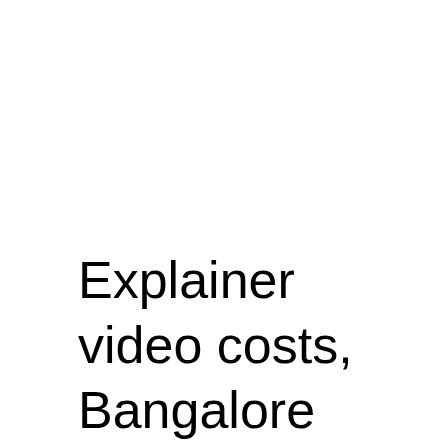Explainer video costs, Bangalore